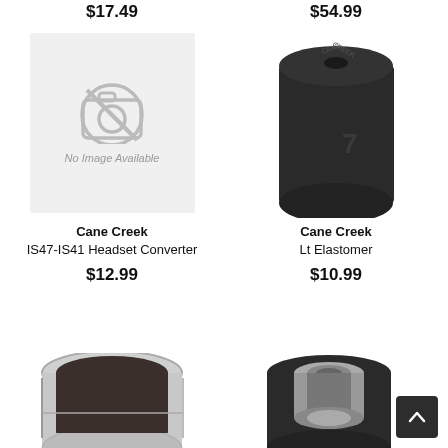$17.49
$54.99
[Figure (photo): No Image Available placeholder with camera icon crossed out, on light grey background]
[Figure (photo): Photo of a black cylindrical rubber elastomer part with Cane Creek branding on top]
Cane Creek IS47-IS41 Headset Converter
Cane Creek Lt Elastomer
$12.99
$10.99
[Figure (photo): Bottom portion of a silver/black ring-shaped bicycle part visible at bottom left]
[Figure (photo): Bottom portion of a black bicycle headset cup with silver bearing race visible at bottom right]